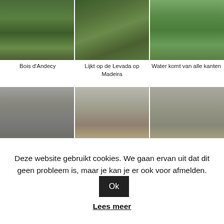[Figure (photo): Three outdoor photos in top row: green field rows (Bois d'Andecy), mossy path resembling Levada on Madeira, waterfall with water coming from all sides]
Bois d'Andecy
Lijkt op de Levada op Madeira
Water komt van alle kanten
[Figure (photo): Three photos in second row: rainy street in Baye, Foyer de Charité in Chateau de Baye, Chateau on left and Ferme on right]
Regen in Baye
Foyer de Charité in Chateau de Baye
Link het Chateau, Rechts de Ferme
Deze website gebruikt cookies. We gaan ervan uit dat dit geen probleem is, maar je kan je er ook voor afmelden. Ok
Lees meer